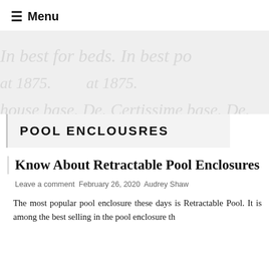☰ Menu
[Figure (illustration): Decorative banner with faint cursive/script watermark text in light gray on a light gray background]
POOL ENCLOUSRES
Know About Retractable Pool Enclosures
Leave a comment  February 26, 2020  Audrey Shaw
The most popular pool enclosure these days is Retractable Pool. It is among the best selling in the pool enclosure th...